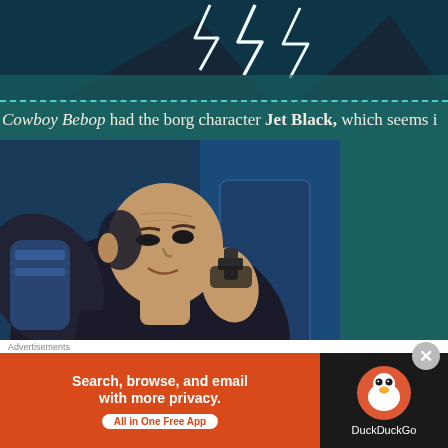[Figure (illustration): Top portion of an anime scene with electric/lightning bolt effects, dark blue-green background with glowing white lightning shapes]
Cowboy Bebop had the borg character Jet Black, which seems i…
[Figure (illustration): Anime character Jet Black from Cowboy Bebop - a large bald muscular man with a cybernetic arm, holding a gun, wearing dark clothes, seated inside what appears to be a vehicle]
[Figure (other): Advertisement banner: DuckDuckGo ad reading 'Search, browse, and email with more privacy. All in One Free App' with DuckDuckGo logo on dark right panel]